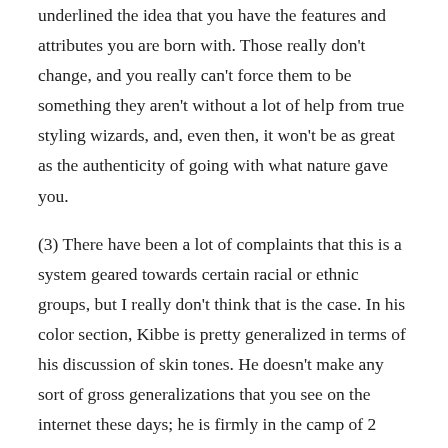underlined the idea that you have the features and attributes you are born with. Those really don't change, and you really can't force them to be something they aren't without a lot of help from true styling wizards, and, even then, it won't be as great as the authenticity of going with what nature gave you.
(3) There have been a lot of complaints that this is a system geared towards certain racial or ethnic groups, but I really don't think that is the case. In his color section, Kibbe is pretty generalized in terms of his discussion of skin tones. He doesn't make any sort of gross generalizations that you see on the internet these days; he is firmly in the camp of 2 undertones, and 2 intensity levels of each, but the overtones can be any shade or depth. He doesn't go into a long discussion of coloring, aside from undertones, but the wording is such that he is pretty plain that this will apply to anyone of any skin tone, just as his discussion of the features that make up the different body types